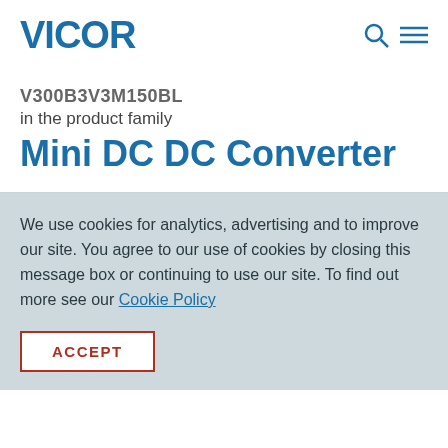VICOR
V300B3V3M150BL
in the product family
Mini DC DC Converter
We use cookies for analytics, advertising and to improve our site. You agree to our use of cookies by closing this message box or continuing to use our site. To find out more see our Cookie Policy
ACCEPT